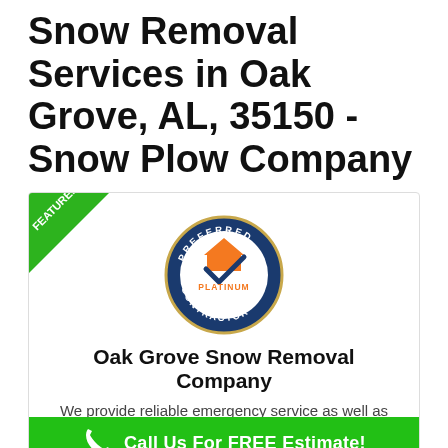Snow Removal Services in Oak Grove, AL, 35150 - Snow Plow Company
[Figure (illustration): Card with green 'FEATURED' ribbon in top-left corner, a circular 'Preferred Contractor Platinum' badge in the center, company name, description text, and a green call-to-action footer bar.]